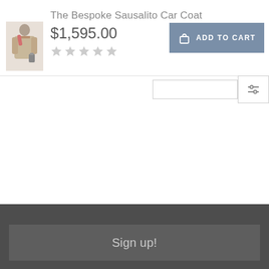[Figure (photo): Small product thumbnail of a person wearing the Bespoke Sausalito Car Coat]
The Bespoke Sausalito Car Coat
$1,595.00
[Figure (other): Five empty/unrated grey star icons for product rating]
[Figure (other): Add to Cart button with shopping bag icon]
[Figure (other): Toolbar with sort dropdown and filter icon]
Sign up!